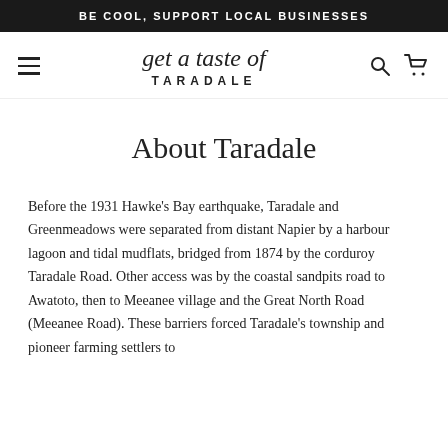BE COOL, SUPPORT LOCAL BUSINESSES
[Figure (logo): Get a taste of Taradale logo with script text above and sans-serif TARADALE below, with hamburger menu, search and cart icons]
About Taradale
Before the 1931 Hawke's Bay earthquake, Taradale and Greenmeadows were separated from distant Napier by a harbour lagoon and tidal mudflats, bridged from 1874 by the corduroy Taradale Road. Other access was by the coastal sandpits road to Awatoto, then to Meeanee village and the Great North Road (Meeanee Road). These barriers forced Taradale's township and pioneer farming settlers to